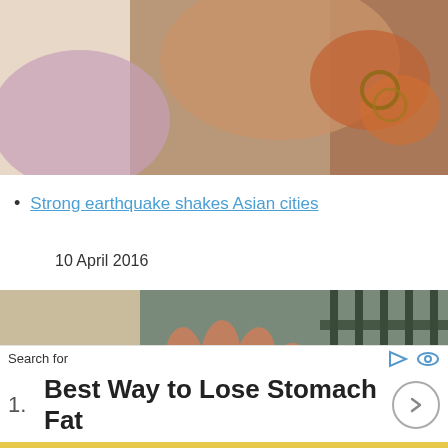[Figure (photo): Partial view of a person in distress, colorful background, cropped at top of page]
Strong earthquake shakes Asian cities
10 April 2016
[Figure (photo): Man holding a crying child's head, with metal fence in background]
Search for
1. Best Way to Lose Stomach Fat